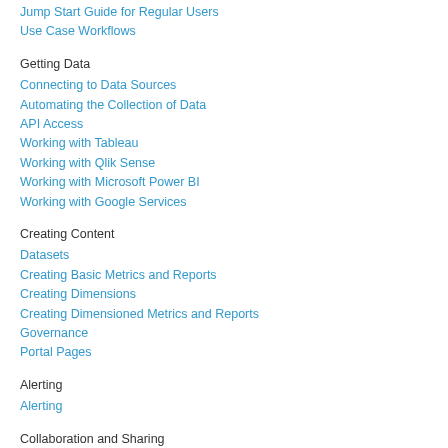Jump Start Guide for Regular Users
Use Case Workflows
Getting Data
Connecting to Data Sources
Automating the Collection of Data
API Access
Working with Tableau
Working with Qlik Sense
Working with Microsoft Power BI
Working with Google Services
Creating Content
Datasets
Creating Basic Metrics and Reports
Creating Dimensions
Creating Dimensioned Metrics and Reports
Governance
Portal Pages
Alerting
Alerting
Collaboration and Sharing
Adding Context to Metrics
Pushing Information to Users
Slack Integration